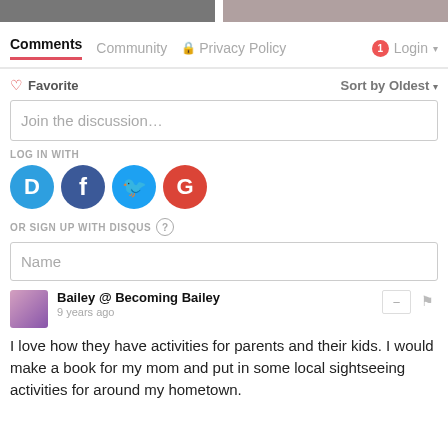[Figure (photo): Two cropped photos at the top of the page, partially visible]
Comments  Community  Privacy Policy  Login
Favorite    Sort by Oldest
Join the discussion…
LOG IN WITH
[Figure (logo): Social login icons: Disqus (D), Facebook (f), Twitter bird, Google (G)]
OR SIGN UP WITH DISQUS ?
Name
Bailey @ Becoming Bailey
9 years ago
I love how they have activities for parents and their kids. I would make a book for my mom and put in some local sightseeing activities for around my hometown.